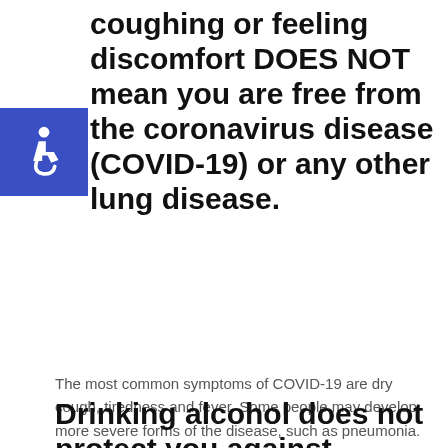coughing or feeling discomfort DOES NOT mean you are free from the coronavirus disease (COVID-19) or any other lung disease.
The most common symptoms of COVID-19 are dry cough, tiredness and fever. Some people may develop more severe forms of the disease, such as pneumonia. The best way to confirm if you have the virus producing COVID-19 disease is with a laboratory test.  You cannot confirm it with this breathing exercise, which can even be dangerous.
Drinking alcohol does not protect you against COVID-19